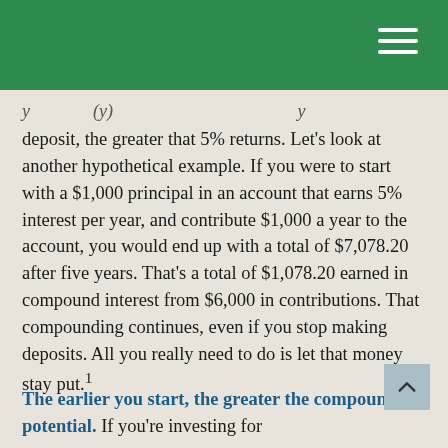deposit, the greater that 5% returns. Let's look at another hypothetical example. If you were to start with a $1,000 principal in an account that earns 5% interest per year, and contribute $1,000 a year to the account, you would end up with a total of $7,078.20 after five years. That's a total of $1,078.20 earned in compound interest from $6,000 in contributions. That compounding continues, even if you stop making deposits. All you really need to do is let that money stay put.¹
The earlier you start, the greater the compounding potential. If you're investing for